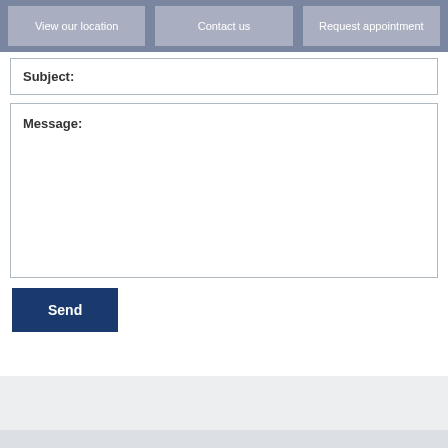View our location | Contact us | Request appointment
Subject:
Message:
Send